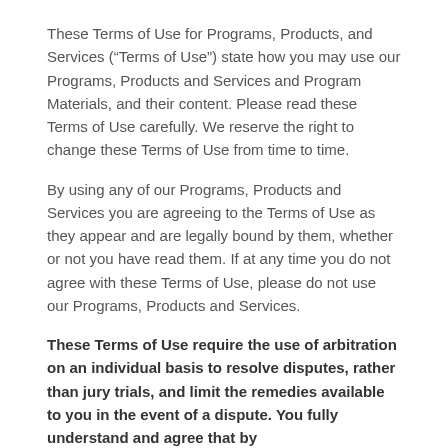These Terms of Use for Programs, Products, and Services (“Terms of Use”) state how you may use our Programs, Products and Services and Program Materials, and their content. Please read these Terms of Use carefully. We reserve the right to change these Terms of Use from time to time.
By using any of our Programs, Products and Services you are agreeing to the Terms of Use as they appear and are legally bound by them, whether or not you have read them. If at any time you do not agree with these Terms of Use, please do not use our Programs, Products and Services.
These Terms of Use require the use of arbitration on an individual basis to resolve disputes, rather than jury trials, and limit the remedies available to you in the event of a dispute. You fully understand and agree that by